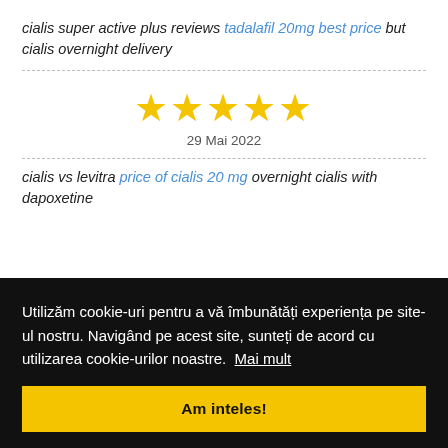cialis super active plus reviews tadalafil 20mg best price but cialis overnight delivery
[Figure (other): Five gold star rating icons displayed in a row]
29 Mai 2022
cialis vs levitra price of cialis 20 mg overnight cialis with dapoxetine
Utilizăm cookie-uri pentru a vă îmbunătăți experiența pe site-ul nostru. Navigând pe acest site, sunteți de acord cu utilizarea cookie-urilor noastre.  Mai mult
Am inteles!
27 Mai 2022